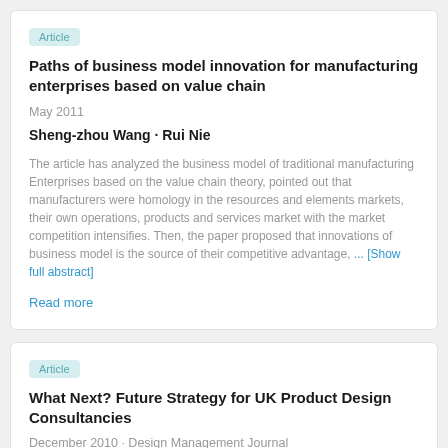Article
Paths of business model innovation for manufacturing enterprises based on value chain
May 2011
Sheng-zhou Wang · Rui Nie
The article has analyzed the business model of traditional manufacturing Enterprises based on the value chain theory, pointed out that manufacturers were homology in the resources and elements markets, their own operations, products and services market with the market competition intensifies. Then, the paper proposed that innovations of business model is the source of their competitive advantage, ... [Show full abstract]
Read more
Article
What Next? Future Strategy for UK Product Design Consultancies
December 2010 · Design Management Journal